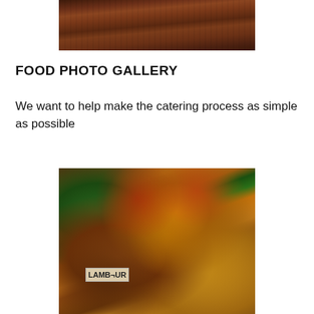[Figure (photo): Partial photo of grilled or roasted meat in a tray, cropped at the top of the page]
FOOD PHOTO GALLERY
We want to help make the catering process as simple as possible
[Figure (photo): Photo of a catering buffet spread showing multiple large metal pans filled with various Indian/ethnic dishes including lamb curry, yellow curry, red pepper stew, and green salad dishes with serving utensils. A sign reading 'LAMB CUR' is visible.]